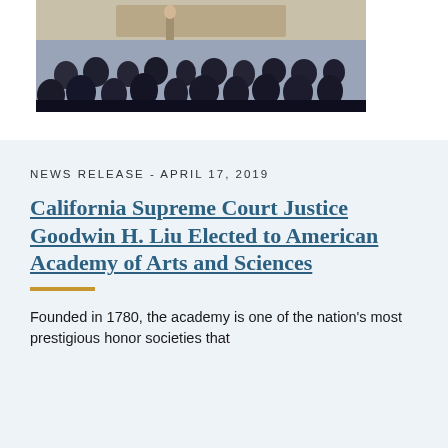[Figure (photo): Audience seated in a formal hall viewed from behind, with a speaker at a podium visible at the front of the room.]
NEWS RELEASE - APRIL 17, 2019
California Supreme Court Justice Goodwin H. Liu Elected to American Academy of Arts and Sciences
Founded in 1780, the academy is one of the nation's most prestigious honor societies that